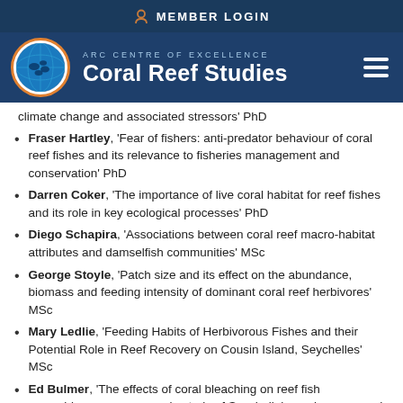MEMBER LOGIN
[Figure (logo): ARC Centre of Excellence Coral Reef Studies logo with circular globe icon]
climate change and associated stressors' PhD
Fraser Hartley, 'Fear of fishers: anti-predator behaviour of coral reef fishes and its relevance to fisheries management and conservation' PhD
Darren Coker, 'The importance of live coral habitat for reef fishes and its role in key ecological processes' PhD
Diego Schapira, 'Associations between coral reef macro-habitat attributes and damselfish communities' MSc
George Stoyle, 'Patch size and its effect on the abundance, biomass and feeding intensity of dominant coral reef herbivores' MSc
Mary Ledlie, 'Feeding Habits of Herbivorous Fishes and their Potential Role in Reef Recovery on Cousin Island, Seychelles' MSc
Ed Bulmer, 'The effects of coral bleaching on reef fish assemblages: a meso-scale study of Seychellois marine reserves' Honours